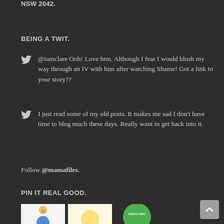NSW 2042.
BEING A TWIT.
@iamclare Ooh! Love him. Although I fear I would blush my way through an IV with him after watching Shame! Got a link to your story??
I just read some of my old posts. It makes me sad I don't have time to blog much these days. Really want to get back into it.
Follow @mamafiles.
PIN IT REAL GOOD.
[Figure (photo): Three Pinterest image thumbnails at the bottom of the page]
[Figure (other): Scroll-to-top button with chevron icon]